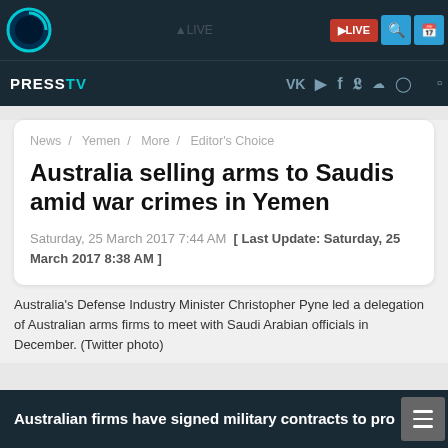[Figure (screenshot): PressTV website navigation bar with logo, LIVE button, search and calendar icons]
PRESS TV | VK | Facebook | Twitter | SoundCloud | Instagram | RSS
News / Yemen / More / Editor's Choice
Australia selling arms to Saudis amid war crimes in Yemen
Saturday, 25 March 2017 7:44 AM [ Last Update: Saturday, 25 March 2017 8:38 AM ]
Australia's Defense Industry Minister Christopher Pyne led a delegation of Australian arms firms to meet with Saudi Arabian officials in December. (Twitter photo)
Australian firms have signed military contracts to pro...